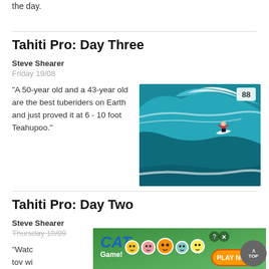the day.
Tahiti Pro: Day Three
Steve Shearer
Friday 19/08
"A 50-year old and a 43-year old are the best tuberiders on Earth and just proved it at 6 - 10 foot Teahupoo."
[Figure (photo): Surfer riding a large barrel wave at Teahupoo, blue ocean, aerial view. Score badge showing 88 in top right corner.]
Tahiti Pro: Day Two
Steve Shearer
Thursday 18/09
"Watc... tov wi...
[Figure (photo): Partial surfing photo with score badge showing 47. Partially obscured by advertisement.]
[Figure (advertisement): Cat Game mobile game advertisement with cartoon cats, green background, PLAY NOW orange button, and close icons.]